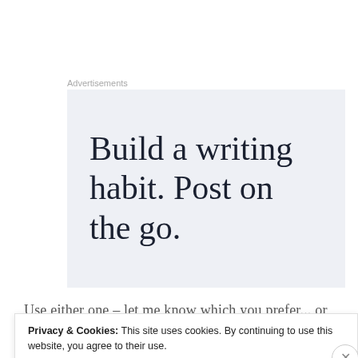Advertisements
[Figure (infographic): Advertisement with light blue-grey background displaying the text 'Build a writing habit. Post on the go.' in large serif font.]
Use either one – let me know which you prefer... or
Privacy & Cookies: This site uses cookies. By continuing to use this website, you agree to their use.
To find out more, including how to control cookies, see here: Cookie Policy
Close and accept